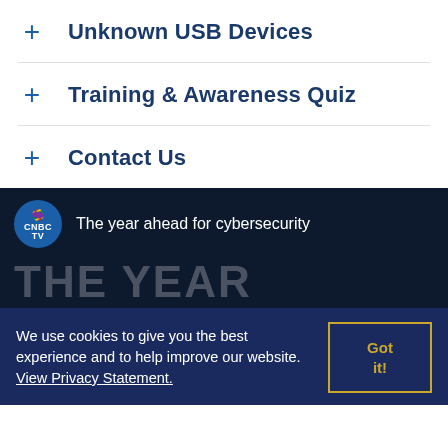+ Unknown USB Devices
+ Training & Awareness Quiz
+ Contact Us
[Figure (screenshot): CNBC TV video thumbnail showing 'The year ahead for cybersecurity' with peacock logo and 'THE YEAR' text overlay on a dark background]
We use cookies to give you the best experience and to help improve our website. View Privacy Statement.